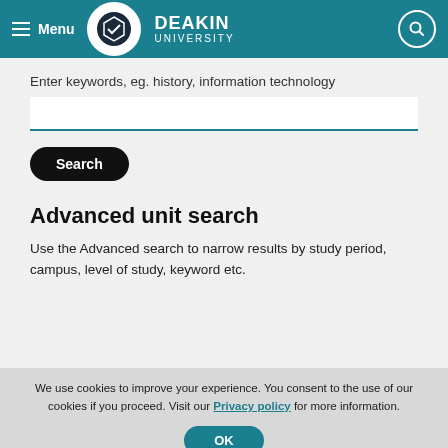Menu | Deakin University
Enter keywords, eg. history, information technology
Search
Advanced unit search
Use the Advanced search to narrow results by study period, campus, level of study, keyword etc.
We use cookies to improve your experience. You consent to the use of our cookies if you proceed. Visit our Privacy policy for more information.
OK